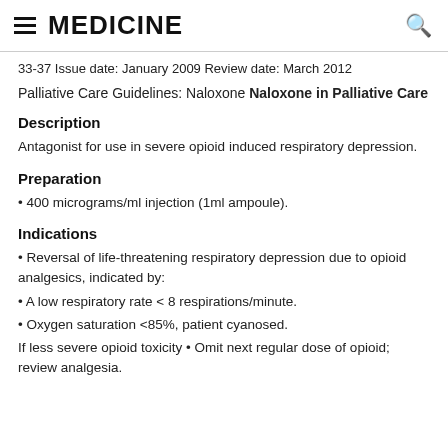MEDICINE
33-37 Issue date: January 2009 Review date: March 2012
Palliative Care Guidelines: Naloxone Naloxone in Palliative Care
Description
Antagonist for use in severe opioid induced respiratory depression.
Preparation
• 400 micrograms/ml injection (1ml ampoule).
Indications
• Reversal of life-threatening respiratory depression due to opioid analgesics, indicated by:
• A low respiratory rate < 8 respirations/minute.
• Oxygen saturation <85%, patient cyanosed.
If less severe opioid toxicity • Omit next regular dose of opioid; review analgesia.